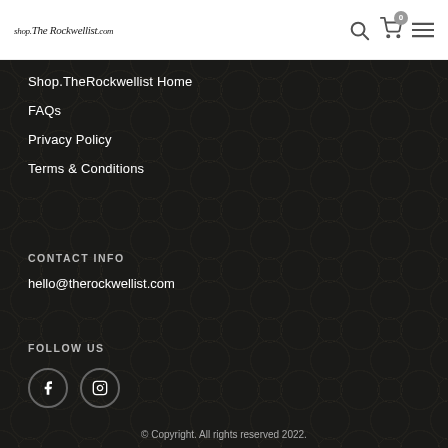shop.TheRockwellist.com
Shop.TheRockwellist Home
FAQs
Privacy Policy
Terms & Conditions
CONTACT INFO
hello@therockwellist.com
FOLLOW US
[Figure (other): Facebook and Instagram social media icons in circular borders]
© Copyright. All rights reserved 2022.